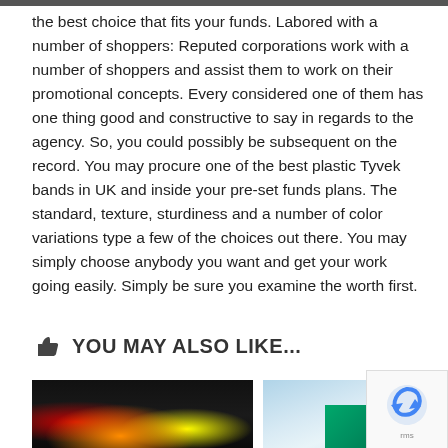the best choice that fits your funds. Labored with a number of shoppers: Reputed corporations work with a number of shoppers and assist them to work on their promotional concepts. Every considered one of them has one thing good and constructive to say in regards to the agency. So, you could possibly be subsequent on the record. You may procure one of the best plastic Tyvek bands in UK and inside your pre-set funds plans. The standard, texture, sturdiness and a number of color variations type a few of the choices out there. You may simply choose anybody you want and get your work going easily. Simply be sure you examine the worth first.
YOU MAY ALSO LIKE...
[Figure (photo): Dark concert/event photo with colorful stage lights]
[Figure (photo): Outdoor scene with sky and green/teal objects]